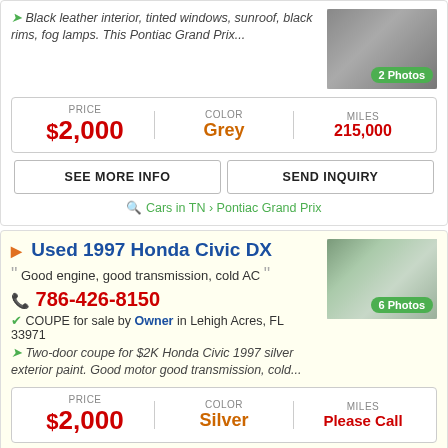Black leather interior, tinted windows, sunroof, black rims, fog lamps. This Pontiac Grand Prix...
| PRICE | COLOR | MILES |
| --- | --- | --- |
| $2,000 | Grey | 215,000 |
SEE MORE INFO | SEND INQUIRY
Cars in TN > Pontiac Grand Prix
Used 1997 Honda Civic DX
Good engine, good transmission, cold AC
786-426-8150
COUPE for sale by Owner in Lehigh Acres, FL 33971
Two-door coupe for $2K Honda Civic 1997 silver exterior paint. Good motor good transmission, cold...
| PRICE | COLOR | MILES |
| --- | --- | --- |
| $2,000 | Silver | Please Call |
SEE MORE INFO | SEND INQUIRY
Florida > Honda Civic